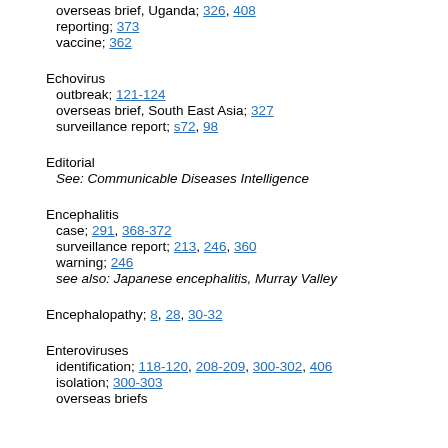overseas brief, Uganda; 326, 408
reporting; 373
vaccine; 362
Echovirus
outbreak; 121-124
overseas brief, South East Asia; 327
surveillance report; s72, 98
Editorial
See: Communicable Diseases Intelligence
Encephalitis
case; 291, 368-372
surveillance report; 213, 246, 360
warning; 246
see also: Japanese encephalitis, Murray Valley
Encephalopathy; 8, 28, 30-32
Enteroviruses
identification; 118-120, 208-209, 300-302, 406
isolation; 300-303
overseas briefs